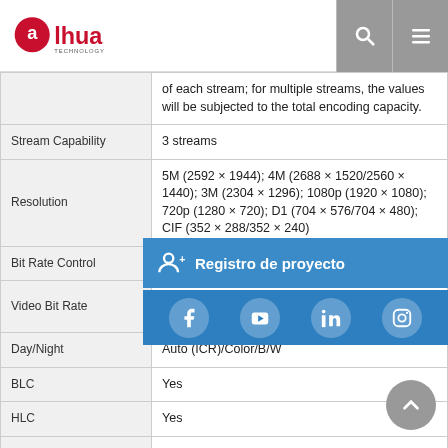[Figure (logo): Dahua Technology logo — red oval with 'alhua' text and 'TECHNOLOGY' below]
| Feature | Value |
| --- | --- |
|  | of each stream; for multiple streams, the values will be subjected to the total encoding capacity. |
| Stream Capability | 3 streams |
| Resolution | 5M (2592 × 1944); 4M (2688 × 1520/2560 × 1440); 3M (2304 × 1296); 1080p (1920 × 1080); 720p (1280 × 720); D1 (704 × 576/704 × 480); CIF (352 × 288/352 × 240) |
| Bit Rate Control | CBR/VBR |
| Video Bit Rate | H.264: 3 kbps
H.265: 3 kbps |
| Day/Night | Auto (ICR)/Color/B/W |
| BLC | Yes |
| HLC | Yes |
| WDR | 120 dB |
| Scene Self-adaptation | Yes |
| White Balance | Auto; natural; street lamp; outdoor; manual; regional custom |